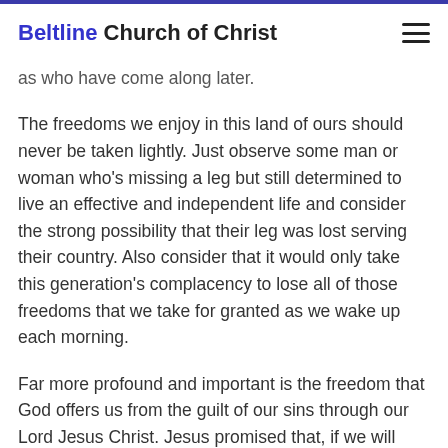Beltline Church of Christ
as who have come along later.
The freedoms we enjoy in this land of ours should never be taken lightly. Just observe some man or woman who's missing a leg but still determined to live an effective and independent life and consider the strong possibility that their leg was lost serving their country. Also consider that it would only take this generation's complacency to lose all of those freedoms that we take for granted as we wake up each morning.
Far more profound and important is the freedom that God offers us from the guilt of our sins through our Lord Jesus Christ. Jesus promised that, if we will obey and live by the gospel message He brought from the throne room of Heaven, we will be freed from the condemnation of our sins: "And you shall know the truth, and the truth shall